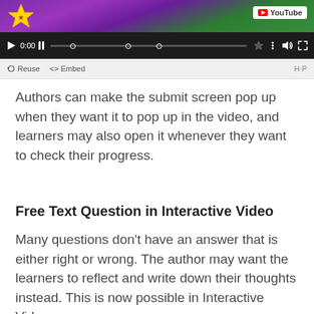[Figure (screenshot): Video player interface showing a purple/green banner with a star logo and YouTube badge, black control bar with play button, timestamp 0:00, progress bar with circles, star bookmark, menu dots, volume and fullscreen icons, and a light gray toolbar with Reuse, Embed links and H-P badge]
Authors can make the submit screen pop up when they want it to pop up in the video, and learners may also open it whenever they want to check their progress.
Free Text Question in Interactive Video
Many questions don’t have an answer that is either right or wrong. The author may want the learners to reflect and write down their thoughts instead. This is now possible in Interactive Video: